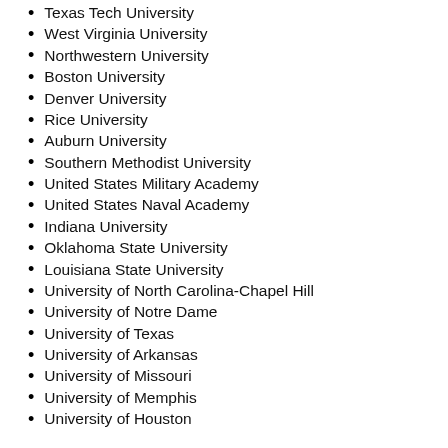Texas Tech University
West Virginia University
Northwestern University
Boston University
Denver University
Rice University
Auburn University
Southern Methodist University
United States Military Academy
United States Naval Academy
Indiana University
Oklahoma State University
Louisiana State University
University of North Carolina-Chapel Hill
University of Notre Dame
University of Texas
University of Arkansas
University of Missouri
University of Memphis
University of Houston